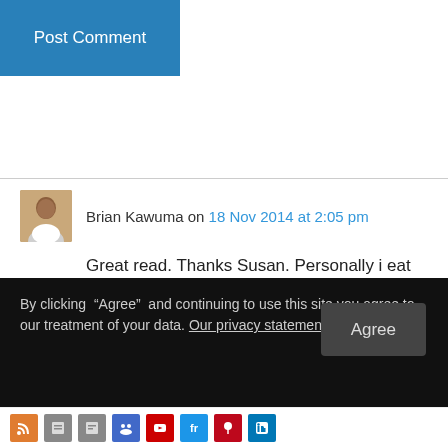[Figure (screenshot): Blue 'Post Comment' button]
Brian Kawuma on 18 Nov 2014 at 2:05 pm
Great read. Thanks Susan. Personally i eat beef, pork and chicken. I also know that with sustainable green farming I can eat my meat and have it, saying anything more might label me a ‘meat zealot’!
👍 0 👎 0 ℹ Rate This
By clicking “Agree” and continuing to use this site you agree to our treatment of your data. Our privacy statement
[Figure (screenshot): Row of social media icons at bottom: RSS, generic, generic, people, YouTube, fr, Pinterest, LinkedIn]